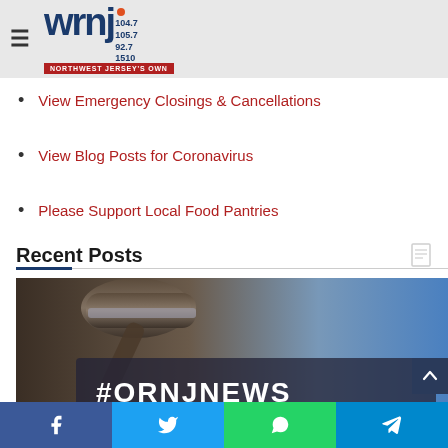[Figure (logo): WRNJ radio station logo with frequencies 104.7, 105.7, 92.7, 1510 and tagline Northwest Jersey's Own]
View Emergency Closings & Cancellations
View Blog Posts for Coronavirus
Please Support Local Food Pantries
Recent Posts
[Figure (photo): Photo of a gavel with #ORNJNEWS overlay text on dark background, news image]
Facebook | Twitter | WhatsApp | Telegram social share buttons